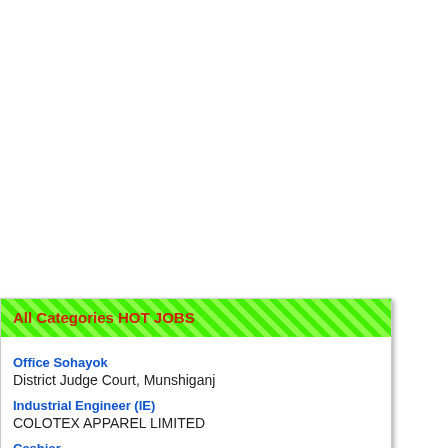All Categories HOT JOBS
Office Sohayok
District Judge Court, Munshiganj
Industrial Engineer (IE)
COLOTEX APPAREL LIMITED
Cashier
Bangladesh Small and Cottage Industries Corporation